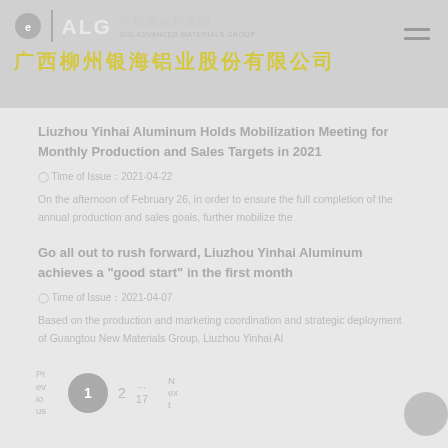ALG 广投新材料集团 广西柳州银海铝业股份有限公司
Liuzhou Yinhai Aluminum Holds Mobilization Meeting for Monthly Production and Sales Targets in 2021
Time of Issue：2021-04-22
On the afternoon of February 26, in order to ensure the full completion of the annual production and sales goals, further mobilize the
Go all out to rush forward, Liuzhou Yinhai Aluminum achieves a "good start" in the first month
Time of Issue：2021-04-07
Based on the production and marketing coordination and strategic deployment of Guangtou New Materials Group, Liuzhou Yinhai Al
Previous  1  2  ...17  Next